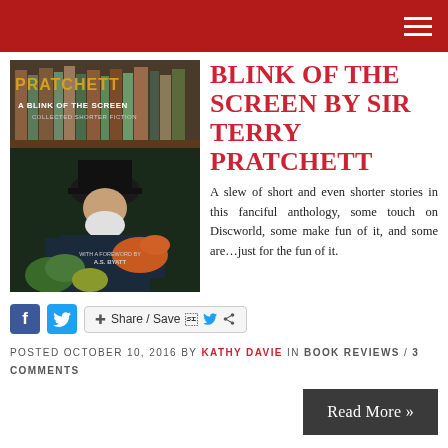[Figure (photo): Book cover of 'Pratchett: A Blink of the Screen — Collected Shorter Fiction' with a foreword by A.S. Byatt, showing Terry Pratchett with lobsters and vegetables]
BLINK OF THE SCREEN BY SIR TERRY PRATCHETT
A slew of short and even shorter stories in this fanciful anthology, some touch on Discworld, some make fun of it, and some are...just for the fun of it.
Share / Save
POSTED OCTOBER 10, 2016 BY KATHY DAVIE IN BOOK REVIEWS / 3 COMMENTS
Read More »